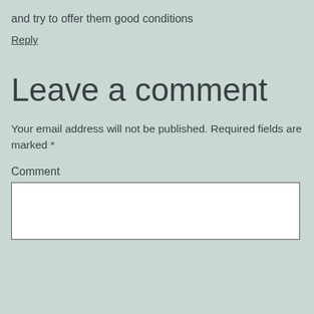and try to offer them good conditions
Reply
Leave a comment
Your email address will not be published. Required fields are marked *
Comment